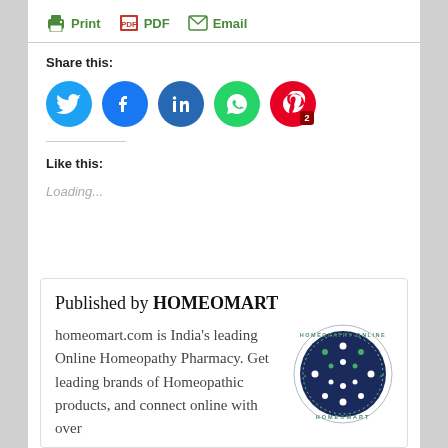[Figure (screenshot): Toolbar with Print, PDF, Email buttons in green]
Share this:
[Figure (infographic): Social media share buttons: Twitter (blue), Facebook (blue), LinkedIn (dark blue), WhatsApp (green), Pinterest (red) with badge '2']
Like this:
Loading...
Published by HOMEOMART
homeomart.com is India's leading Online Homeopathy Pharmacy. Get leading brands of Homeopathic products, and connect online with over
[Figure (logo): Homeomart Homeopathy Online circular logo with dark blue background and green/white dot pattern]